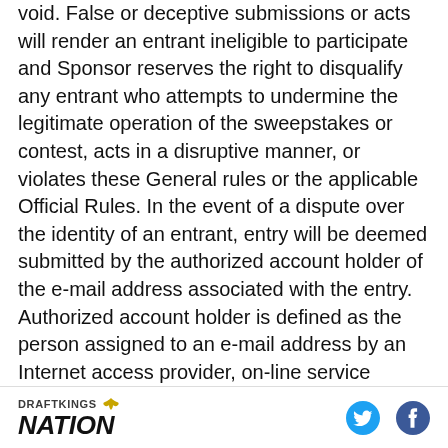void. False or deceptive submissions or acts will render an entrant ineligible to participate and Sponsor reserves the right to disqualify any entrant who attempts to undermine the legitimate operation of the sweepstakes or contest, acts in a disruptive manner, or violates these General rules or the applicable Official Rules. In the event of a dispute over the identity of an entrant, entry will be deemed submitted by the authorized account holder of the e-mail address associated with the entry. Authorized account holder is defined as the person assigned to an e-mail address by an Internet access provider, on-line service provider or other organization responsible for assigning e-mail
DRAFTKINGS NATION [social icons: Twitter, Facebook]